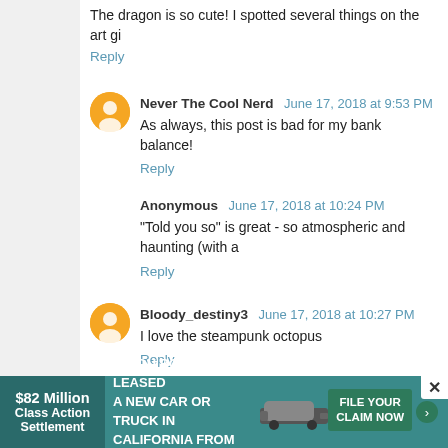The dragon is so cute! I spotted several things on the art gi
Reply
Never The Cool Nerd  June 17, 2018 at 9:53 PM
As always, this post is bad for my bank balance!
Reply
Anonymous  June 17, 2018 at 10:24 PM
"Told you so" is great - so atmospheric and haunting (with a
Reply
Bloody_destiny3  June 17, 2018 at 10:27 PM
I love the steampunk octopus
Reply
Susan  June 17, 2018 at 11:39 PM
[Figure (screenshot): Advertisement banner: $82 Million Class Action Settlement - IF YOU BOUGHT OR LEASED A NEW CAR OR TRUCK IN CALIFORNIA FROM 2001 - 2003 - FILE YOUR CLAIM NOW]